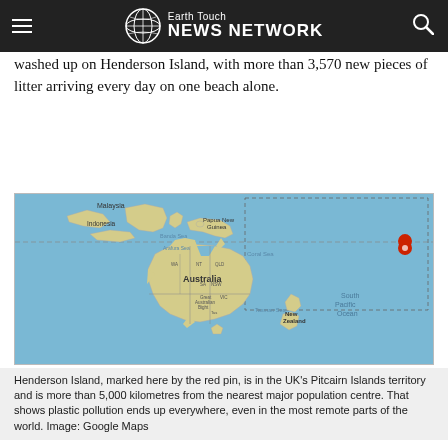Earth Touch NEWS NETWORK
The study, published in the journal Proceedings of the National Academy estimated that more than tonnes of plastic debris has washed up on Henderson Island, with more than 3,570 new pieces of litter arriving every day on one beach alone.
[Figure (map): Google Maps image showing Australia, New Zealand, Papua New Guinea, Indonesia, Malaysia and the South Pacific Ocean, with a red map pin marking Henderson Island in the South Pacific, far to the east of New Zealand.]
Henderson Island, marked here by the red pin, is in the UK's Pitcairn Islands territory and is more than 5,000 kilometres from the nearest major population centre. That shows plastic pollution ends up everywhere, even in the most remote parts of the world. Image: Google Maps